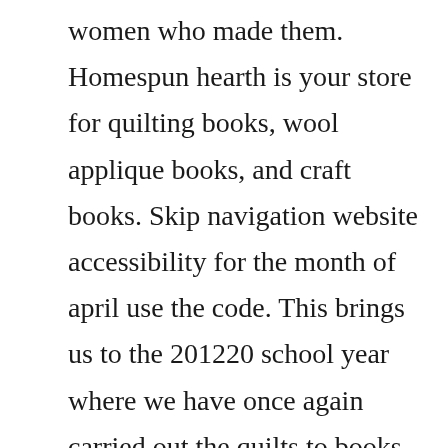women who made them. Homespun hearth is your store for quilting books, wool applique books, and craft books. Skip navigation website accessibility for the month of april use the code. This brings us to the 201220 school year where we have once again carried out the quilts to books project with our students at cypress ridge elementary school for the 8th year in a row. Maybe youve been inspired to learn how to make a quilt but dont know exactly how to begin. Get our new history books for free by mail or find our free kindly books...